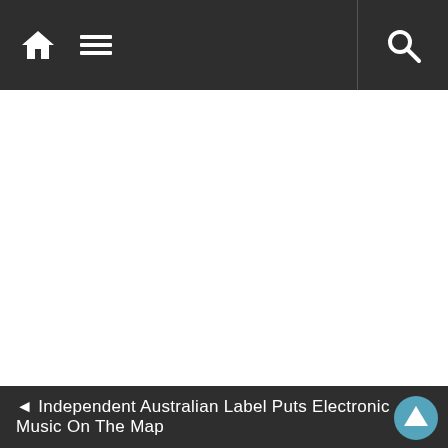Navigation bar with home icon, menu icon, and search icon
◄ Independent Australian Label Puts Electronic Music On The Map